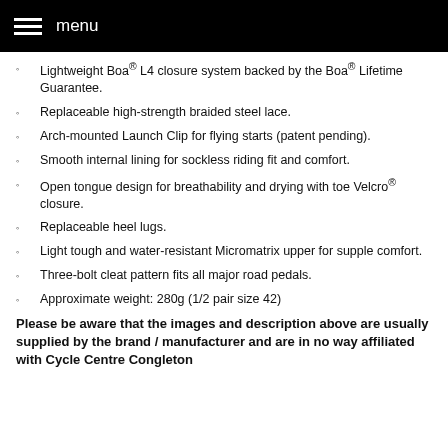menu
Lightweight Boa® L4 closure system backed by the Boa® Lifetime Guarantee.
Replaceable high-strength braided steel lace.
Arch-mounted Launch Clip for flying starts (patent pending).
Smooth internal lining for sockless riding fit and comfort.
Open tongue design for breathability and drying with toe Velcro® closure.
Replaceable heel lugs.
Light tough and water-resistant Micromatrix upper for supple comfort.
Three-bolt cleat pattern fits all major road pedals.
Approximate weight: 280g (1/2 pair size 42)
Please be aware that the images and description above are usually supplied by the brand / manufacturer and are in no way affiliated with Cycle Centre Congleton